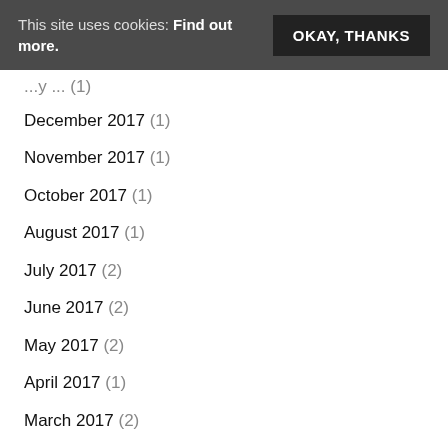This site uses cookies: Find out more.
December 2017 (1)
November 2017 (1)
October 2017 (1)
August 2017 (1)
July 2017 (2)
June 2017 (2)
May 2017 (2)
April 2017 (1)
March 2017 (2)
February 2017 (2)
January 2017 (1)
November 2016 (2)
October 2016 (1)
September 2016 (1)